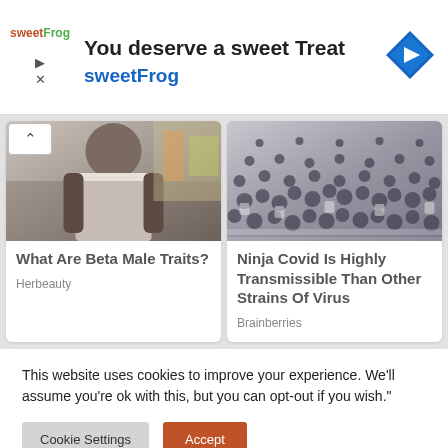[Figure (other): SweetFrog advertisement banner with logo, text 'You deserve a sweet Treat', 'sweetFrog', and a blue diamond navigation arrow icon]
[Figure (photo): Photo of a person in a white tank top with graffiti background]
What Are Beta Male Traits?
Herbeauty
[Figure (photo): Aerial photo of a crowd of people wearing masks at a busy crossing]
Ninja Covid Is Highly Transmissible Than Other Strains Of Virus
Brainberries
This website uses cookies to improve your experience. We'll assume you're ok with this, but you can opt-out if you wish."
Cookie Settings
Accept